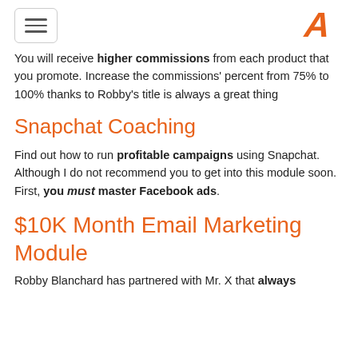[menu button] [logo A]
You will receive higher commissions from each product that you promote. Increase the commissions' percent from 75% to 100% thanks to Robby's title is always a great thing
Snapchat Coaching
Find out how to run profitable campaigns using Snapchat. Although I do not recommend you to get into this module soon. First, you must master Facebook ads.
$10K Month Email Marketing Module
Robby Blanchard has partnered with Mr. X that always